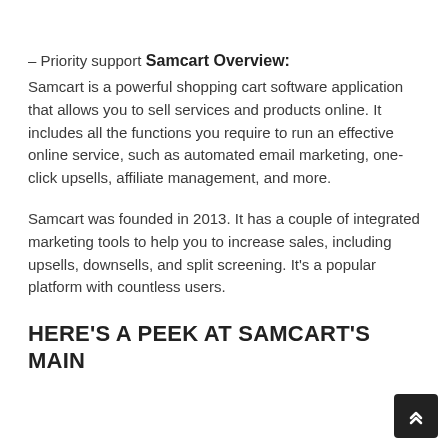– Priority support
Samcart Overview:
Samcart is a powerful shopping cart software application that allows you to sell services and products online. It includes all the functions you require to run an effective online service, such as automated email marketing, one-click upsells, affiliate management, and more.
Samcart was founded in 2013. It has a couple of integrated marketing tools to help you to increase sales, including upsells, downsells, and split screening. It's a popular platform with countless users.
HERE'S A PEEK AT SAMCART'S MAIN